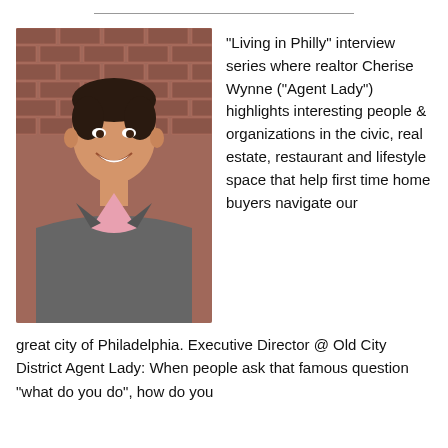[Figure (photo): Professional headshot of a smiling man in a grey suit with a pink dress shirt, posed in front of a red brick wall.]
"Living in Philly" interview series where realtor Cherise Wynne ("Agent Lady") highlights interesting people & organizations in the civic, real estate, restaurant and lifestyle space that help first time home buyers navigate our great city of Philadelphia. Executive Director @ Old City District Agent Lady: When people ask that famous question "what do you do", how do you
great city of Philadelphia. Executive Director @ Old City District Agent Lady: When people ask that famous question "what do you do", how do you